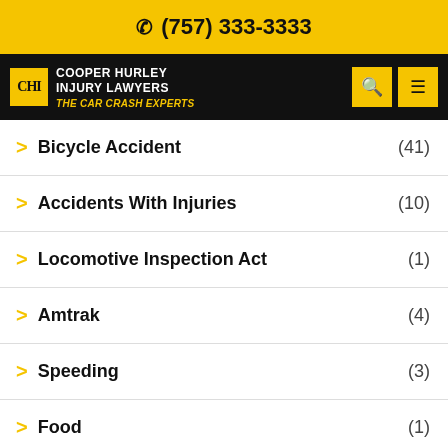(757) 333-3333
[Figure (logo): Cooper Hurley Injury Lawyers - The Car Crash Experts logo with navigation icons]
Bicycle Accident (41)
Accidents With Injuries (10)
Locomotive Inspection Act (1)
Amtrak (4)
Speeding (3)
Food (1)
Federal Trucking Regulations
US Railroad Retirement Board (1)